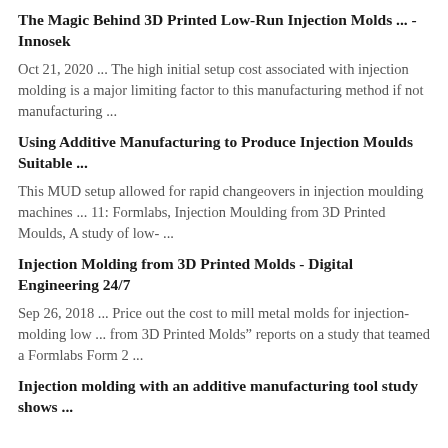The Magic Behind 3D Printed Low-Run Injection Molds ... - Innosek
Oct 21, 2020 ... The high initial setup cost associated with injection molding is a major limiting factor to this manufacturing method if not manufacturing ...
Using Additive Manufacturing to Produce Injection Moulds Suitable ...
This MUD setup allowed for rapid changeovers in injection moulding machines ... 11: Formlabs, Injection Moulding from 3D Printed Moulds, A study of low- ...
Injection Molding from 3D Printed Molds - Digital Engineering 24/7
Sep 26, 2018 ... Price out the cost to mill metal molds for injection-molding low ... from 3D Printed Molds” reports on a study that teamed a Formlabs Form 2 ...
Injection molding with an additive manufacturing tool study shows ...